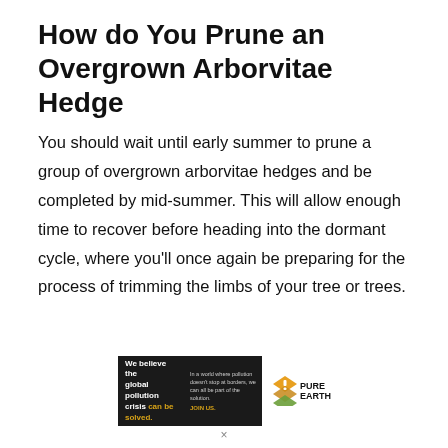How do You Prune an Overgrown Arborvitae Hedge
You should wait until early summer to prune a group of overgrown arborvitae hedges and be completed by mid-summer. This will allow enough time to recover before heading into the dormant cycle, where you'll once again be preparing for the process of trimming the limbs of your tree or trees.
[Figure (other): Advertisement banner for Pure Earth organization. Left dark section: 'We believe the global pollution crisis can be solved.' with 'can be solved.' in yellow/gold. Middle dark section: 'In a world where pollution doesn't stop at borders, we can all be part of the solution. JOIN US.' Right white section: Pure Earth logo with diamond/chevron shapes in orange/yellow and 'PURE EARTH' text in black.]